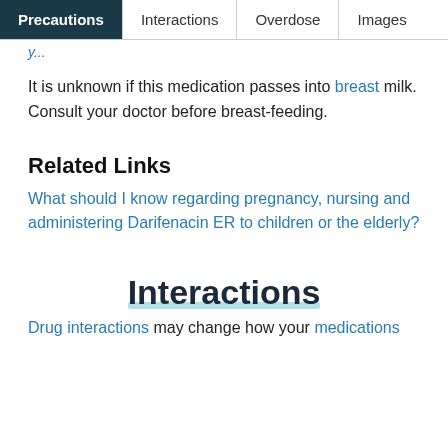Precautions | Interactions | Overdose | Images
It is unknown if this medication passes into breast milk. Consult your doctor before breast-feeding.
Related Links
What should I know regarding pregnancy, nursing and administering Darifenacin ER to children or the elderly?
Interactions
Drug interactions may change how your medications